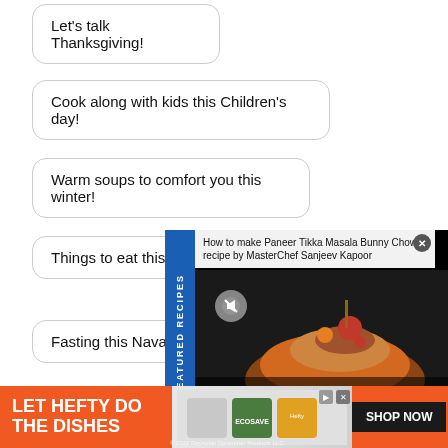Let's talk Thanksgiving!
Cook along with kids this Children's day!
Warm soups to comfort you this winter!
Things to eat this winter!
[Figure (screenshot): Featured Recipes panel showing 'How to make Paneer Tikka Masala Bunny Chow, recipe by MasterChef Sanjeev Kapoor' with a food image]
Fasting this Navaratri
Snack box ideas for y...
Som...
[Figure (screenshot): Advertisement banner: LET HEFTY DO THE DISHES - Reynolds Consumer Products LLC with product images and SHOP NOW button]